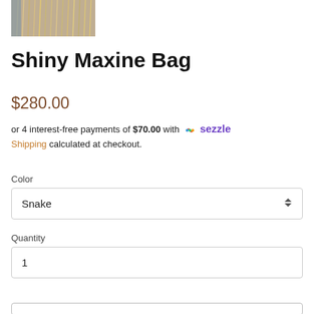[Figure (photo): Partial product image of a shiny bag with fringe/texture, cropped at top of page]
Shiny Maxine Bag
$280.00
or 4 interest-free payments of $70.00 with sezzle
Shipping calculated at checkout.
Color
Snake
Quantity
1